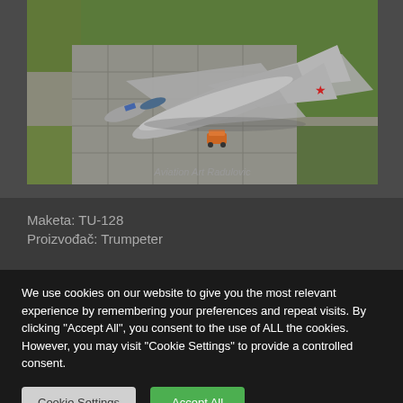[Figure (photo): Aerial view of a scale model of a TU-128 Soviet jet fighter aircraft on a diorama depicting a military airfield base with concrete taxiways and green grass areas. A small ground vehicle is visible near the aircraft. Watermark reads 'Aviation Art Radulovic'.]
Maketa: TU-128
Proizvođač: Trumpeter
We use cookies on our website to give you the most relevant experience by remembering your preferences and repeat visits. By clicking "Accept All", you consent to the use of ALL the cookies. However, you may visit "Cookie Settings" to provide a controlled consent.
Cookie Settings | Accept All